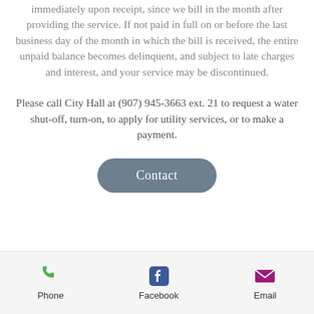immediately upon receipt, since we bill in the month after providing the service. If not paid in full on or before the last business day of the month in which the bill is received, the entire unpaid balance becomes delinquent, and subject to late charges and interest, and your service may be discontinued.
Please call City Hall at (907) 945-3663 ext. 21 to request a water shut-off, turn-on, to apply for utility services, or to make a payment.
[Figure (other): A rounded rectangular button with dark slate-blue background and white text reading 'Contact']
Phone | Facebook | Email